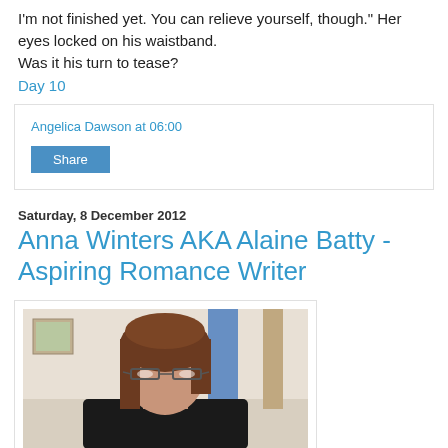I'm not finished yet. You can relieve yourself, though." Her eyes locked on his waistband.
Was it his turn to tease?
Day 10
Angelica Dawson at 06:00
Share
Saturday, 8 December 2012
Anna Winters AKA Alaine Batty - Aspiring Romance Writer
[Figure (photo): A woman with brown hair and glasses, photographed in a selfie style, with a blue strap visible and a light-colored room in the background.]